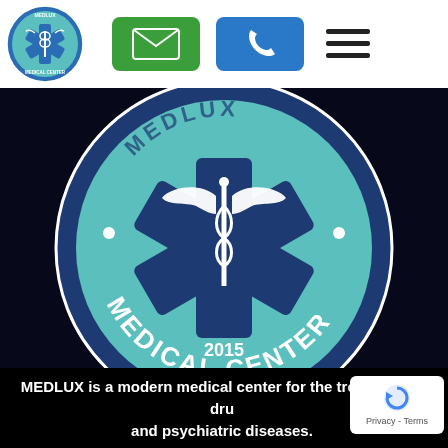[Figure (logo): Medlux Medical Center small circular logo in header]
[Figure (logo): Green email button icon in header]
[Figure (logo): Blue phone button icon in header]
[Figure (logo): Hamburger menu icon in header]
[Figure (logo): Large Medlux Medical Center circular logo with star of life, caduceus, and text MEDICAL CENTER 2015 on dark background]
MEDLUX is a modern medical center for the treatment of drug and psychiatric diseases.
[Figure (logo): Google reCAPTCHA Privacy - Terms badge]